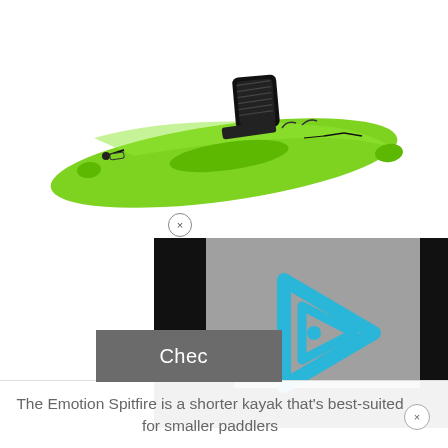[Figure (photo): A bright lime green sit-on-top kayak with a black mesh backrest seat. The kayak is viewed from a three-quarter angle showing the full length. It has black bungee cords and handles.]
[Figure (screenshot): A video player overlay showing a grey background with a cyan/turquoise triangular play button logo (resembling the letter i inside a triangle). Black bars on left and right sides. A partially visible grey button labeled 'Check' on the left.]
The Emotion Spitfire is a shorter kayak that's best-suited for smaller paddlers